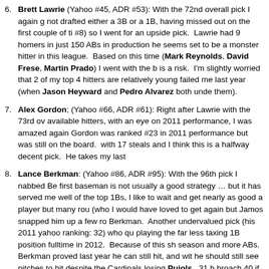Brett Lawrie (Yahoo #45, ADR #53): With the 72nd overall pick I again g not drafted either a 3B or a 1B, having missed out on the first couple of ti #8) so I went for an upside pick. Lawrie had 9 homers in just 150 ABs in production he seems set to be a monster hitter in this league. Based on this time (Mark Reynolds, David Frese, Martin Prado) I went with the b is a risk. I'm slightly worried that 2 of my top 4 hitters are relatively young failed me last year (when Jason Heyward and Pedro Alvarez both unde them).
Alex Gordon; (Yahoo #66, ADR #61): Right after Lawrie with the 73rd ov available hitters, with an eye on 2011 performance, I was amazed again Gordon was ranked #23 in 2011 performance but was still on the board. with 17 steals and I think this is a halfway decent pick. He takes my last
Lance Berkman: (Yahoo #86, ADR #95): With the 96th pick I nabbed Be first baseman is not usually a good strategy … but it has served me well of the top 1Bs, I like to wait and get nearly as good a player but many rou (who I would have loved to get again but Jamos snapped him up a few ro Berkman. Another undervalued pick (his 2011 yahoo ranking: 32) who qu playing the far less taxing 1B position fulltime in 2012. Because of this sh season and more ABs. Berkman proved last year he can still hit, and wit he should still see pitches to hit despite the Cardinals losing Pujols. 31 h broach 40 if he gets 600 Abs like he should.
Jimmy Rollins: (Yahoo #73, ADR #88). 97th overall, still continuing to g but by the 9th round he's as good as you're going to get. He was a dece 2007-2009 numbers (when in consecutive seasons he was the 5th, 9th a